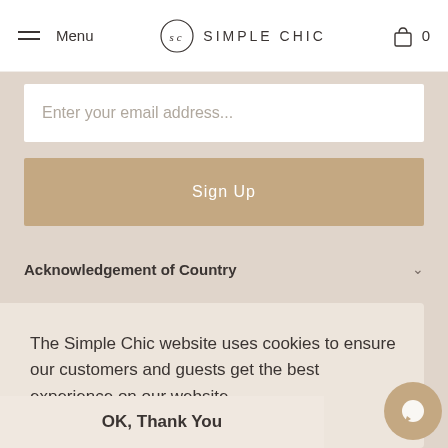Menu  SIMPLE CHIC  0
Enter your email address...
Sign Up
Acknowledgement of Country
The Simple Chic website uses cookies to ensure our customers and guests get the best experience on our website.
Read Cookie Policy
OK, Thank You